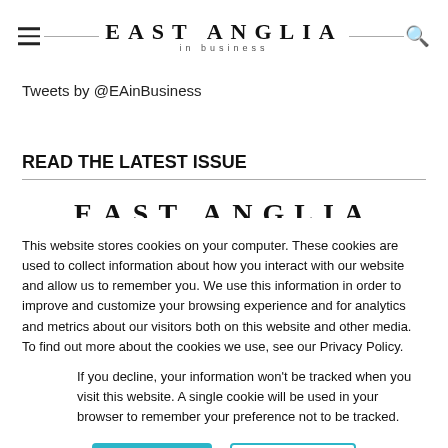EAST ANGLIA in business
Tweets by @EAinBusiness
READ THE LATEST ISSUE
[Figure (other): Partial view of East Anglia in business magazine cover showing masthead text]
This website stores cookies on your computer. These cookies are used to collect information about how you interact with our website and allow us to remember you. We use this information in order to improve and customize your browsing experience and for analytics and metrics about our visitors both on this website and other media. To find out more about the cookies we use, see our Privacy Policy.
If you decline, your information won't be tracked when you visit this website. A single cookie will be used in your browser to remember your preference not to be tracked.